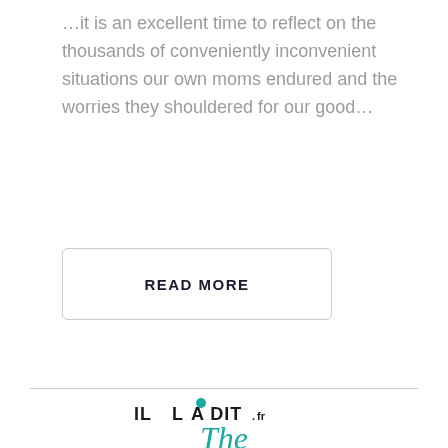…it is an excellent time to reflect on the thousands of conveniently inconvenient situations our own moms endured and the worries they shouldered for our good…
READ MORE
[Figure (logo): IL LA DIT.fr logo with a teal dot above the letter A]
The
4 FIELDS